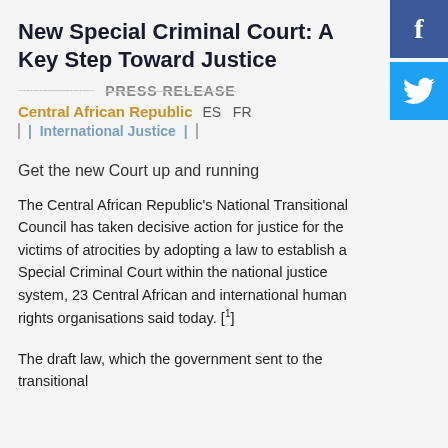New Special Criminal Court: A Key Step Toward Justice
[Figure (logo): Facebook social share button (blue square with white 'f' logo)]
[Figure (logo): Twitter social share button (blue square with white bird logo)]
PRESS RELEASE
Central African Republic   ES   FR
| International Justice |
Get the new Court up and running
The Central African Republic's National Transitional Council has taken decisive action for justice for the victims of atrocities by adopting a law to establish a Special Criminal Court within the national justice system, 23 Central African and international human rights organisations said today. [1]
The draft law, which the government sent to the transitional